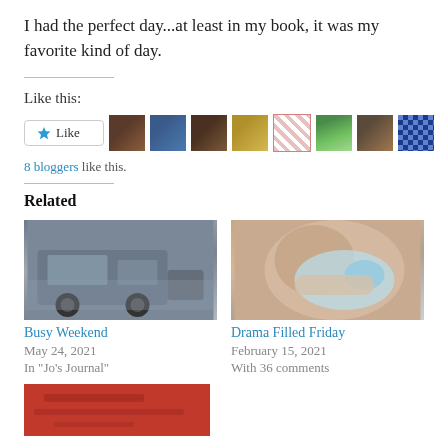I had the perfect day...at least in my book, it was my favorite kind of day.
Like this:
[Figure (other): Like button with star icon and 8 blogger avatar thumbnails]
8 bloggers like this.
Related
[Figure (photo): Photo of a grey pickup truck in a parking lot]
Busy Weekend
May 24, 2021
In "Jo's Journal"
[Figure (photo): Close-up photo of a baby with a blue pacifier]
Drama Filled Friday
February 15, 2021
With 36 comments
[Figure (photo): Partial photo with red background, bottom of page]